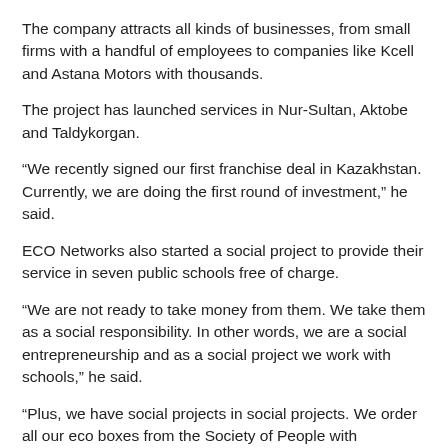The company attracts all kinds of businesses, from small firms with a handful of employees to companies like Kcell and Astana Motors with thousands.
The project has launched services in Nur-Sultan, Aktobe and Taldykorgan.
“We recently signed our first franchise deal in Kazakhstan. Currently, we are doing the first round of investment,” he said.
ECO Networks also started a social project to provide their service in seven public schools free of charge.
“We are not ready to take money from them. We take them as a social responsibility. In other words, we are a social entrepreneurship and as a social project we work with schools,” he said.
“Plus, we have social projects in social projects. We order all our eco boxes from the Society of People with Blindness. And the Society of Mothers with Many Children design all the string bags and bags for clients… We are always coming up with ways to develop this social ideology,” he added.